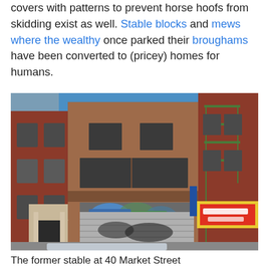covers with patterns to prevent horse hoofs from skidding exist as well. Stable blocks and mews where the wealthy once parked their broughams have been converted to (pricey) homes for humans.
[Figure (photo): Street-level photograph of the former stable at 40 Market Street, a red brick building with arched doorway, graffiti on lower facade, and adjacent buildings with fire escapes.]
The former stable at 40 Market Street